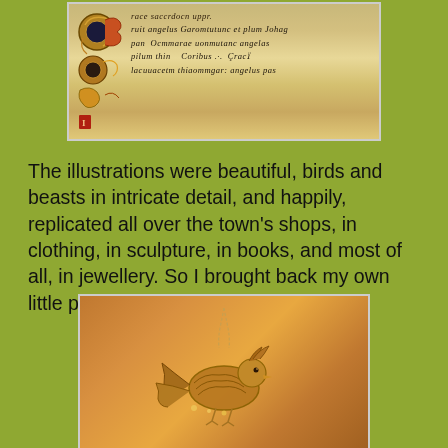[Figure (photo): Illuminated manuscript page showing medieval script and decorated initials with birds and beasts in ornate Celtic style, with gold and colored decorations on parchment background]
The illustrations were beautiful, birds and beasts in intricate detail, and happily, replicated all over the town's shops, in clothing, in sculpture, in books, and most of all, in jewellery. So I brought back my own little piece of the masterpiece:
[Figure (photo): Close-up photograph of a gold/silver necklace pendant in the shape of a bird or beast in Celtic illuminated manuscript style, hanging on a chain against a warm orange/brown background]